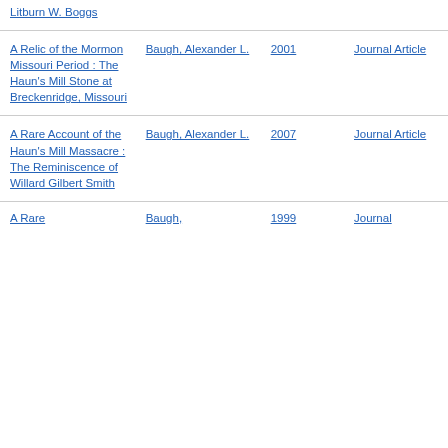| Title | Author | Year | Type |
| --- | --- | --- | --- |
| Litburn W. Boggs |  |  |  |
| A Relic of the Mormon Missouri Period : The Haun's Mill Stone at Breckenridge, Missouri | Baugh, Alexander L. | 2001 | Journal Article |
| A Rare Account of the Haun's Mill Massacre : The Reminiscence of Willard Gilbert Smith | Baugh, Alexander L. | 2007 | Journal Article |
| A Rare... | Baugh, | 1999 | Journal... |